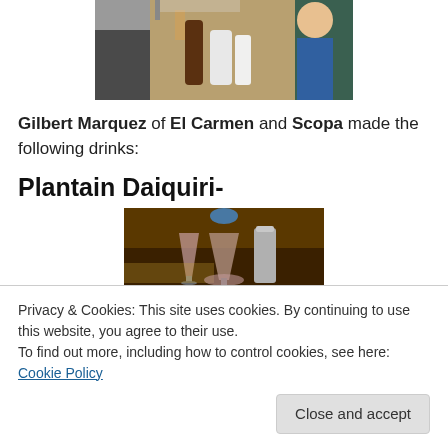[Figure (photo): Photo of bar setup with bottles and equipment, people in background]
Gilbert Marquez of El Carmen and Scopa made the following drinks:
Plantain Daiquiri-
[Figure (photo): Photo of cocktail drink in dim bar setting with glasses]
Privacy & Cookies: This site uses cookies. By continuing to use this website, you agree to their use.
To find out more, including how to control cookies, see here: Cookie Policy
Close and accept